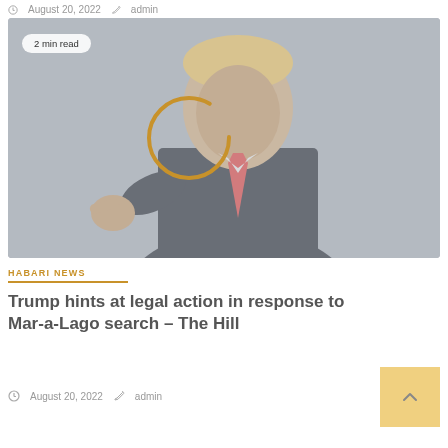August 20, 2022  admin
[Figure (photo): Photo of a man in a suit pointing at the camera, with a loading/spinner circle overlay on the image]
HABARI NEWS
Trump hints at legal action in response to Mar-a-Lago search – The Hill
August 20, 2022  admin